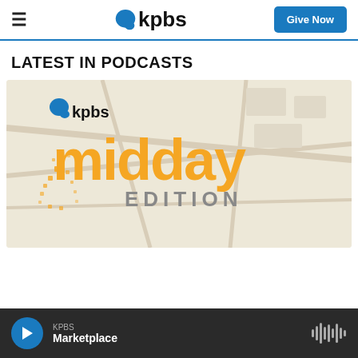kpbs | Give Now
LATEST IN PODCASTS
[Figure (illustration): KPBS Midday Edition podcast cover art showing the KPBS logo, the word 'midday' in large orange text, and 'EDITION' in gray below, on a light map-textured background]
KPBS Marketplace